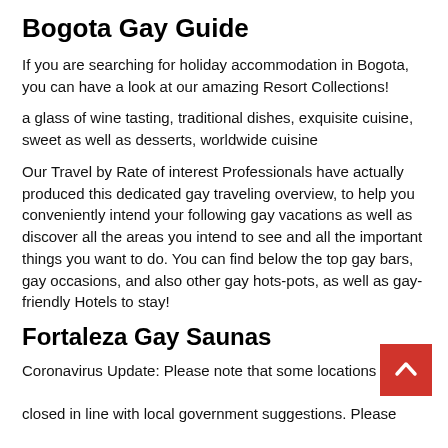Bogota Gay Guide
If you are searching for holiday accommodation in Bogota, you can have a look at our amazing Resort Collections!
a glass of wine tasting, traditional dishes, exquisite cuisine, sweet as well as desserts, worldwide cuisine
Our Travel by Rate of interest Professionals have actually produced this dedicated gay traveling overview, to help you conveniently intend your following gay vacations as well as discover all the areas you intend to see and all the important things you want to do. You can find below the top gay bars, gay occasions, and also other gay hots-pots, as well as gay-friendly Hotels to stay!
Fortaleza Gay Saunas
Coronavirus Update: Please note that some locations may be closed in line with local government suggestions. Please